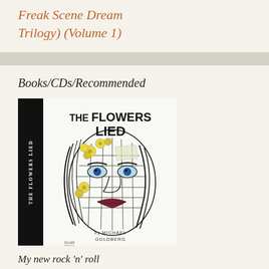Freak Scene Dream Trilogy) (Volume 1)
Books/CDs/Recommended
[Figure (illustration): Book cover for 'The Flowers Lied' by Michael Goldberg. Black spine on left with title text vertically. Cover shows an artistic illustration of a fragmented face with flowers, drawn in pen-and-ink style with color accents of yellow flowers and dark lips. Title 'THE FLOWERS LIED' in bold at top, 'by MICHAEL GOLDBERG' at bottom.]
My new rock 'n' roll novel, The Flowers Lied. The Flowers Lied